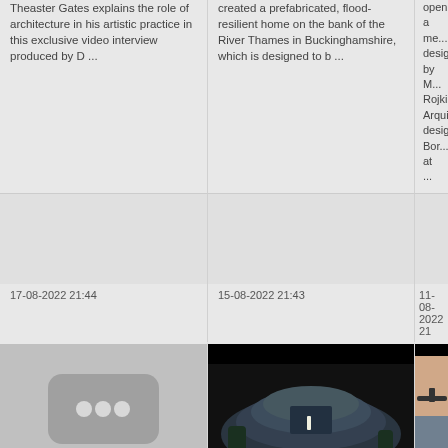Theaster Gates explains the role of architecture in his artistic practice in this exclusive video interview produced by D ...
created a prefabricated, flood-resilient home on the bank of the River Thames in Buckinghamshire, which is designed to b ...
opened a me... designed by M... Rojkind Arquit... designers Bor... at ...
17-08-2022 21:44
15-08-2022 21:43
11-08-2022 21
[Figure (other): Video thumbnail placeholder with three dots]
[Figure (photo): Chapel of Sound building - dark rock-like concert hall at night with a figure inside]
[Figure (photo): Volkswagen flying car prototype - aircraft over water at dusk]
Drone video explores Taipei Performing Arts Center by OMA |
Chapel of Sound in China is given a "science-fiction vi
Volkswage... prototype ... Tiger" e
Viewers can explore the interiors of the newly-opened Taipei Performing Arts Center by Dutch studio OMA in this drone video, produced by Shephotoerd C ...
An otherwordly character explores the Chapel of Sound, a rock-like concert hall designed by Chinese studio Open Architecture, in this video informed b ...
Automotive co... has launched ... prototype for a... car, an electri... the Flying Tige...